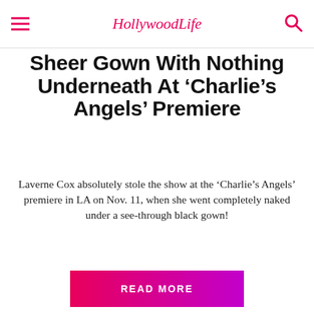HollywoodLife
Sheer Gown With Nothing Underneath At ‘Charlie’s Angels’ Premiere
Laverne Cox absolutely stole the show at the ‘Charlie’s Angels’ premiere in LA on Nov. 11, when she went completely naked under a see-through black gown!
READ MORE
NOVEMBER 6, 2019
[Figure (photo): Crowd of people at an outdoor event, central figure is a woman with sunglasses and red-tinted lenses, men visible on either side]